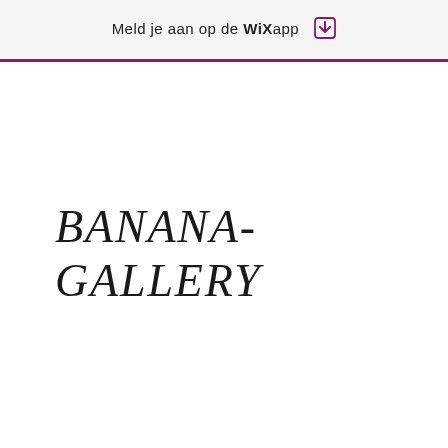Meld je aan op de WiX app ↓
BANANA-GALLERY